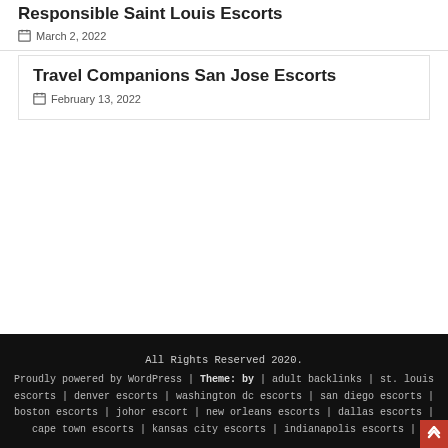Responsible Saint Louis Escorts
March 2, 2022
Travel Companions San Jose Escorts
February 13, 2022
All Rights Reserved 2020. Proudly powered by WordPress | Theme: by | adult backlinks | st. louis escorts | denver escorts | washington dc escorts | san diego escorts | boston escorts | johor escort | new orleans escorts | dallas escorts | cape town escorts | kansas city escorts | indianapolis escorts |